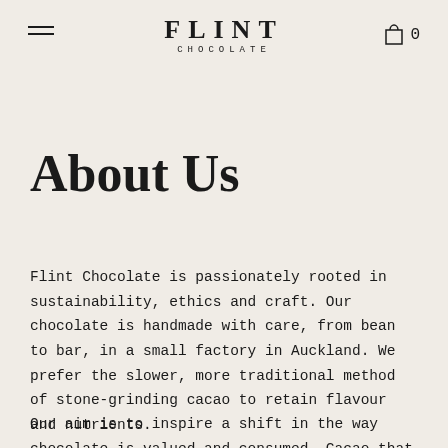FLINT CHOCOLATE
About Us
Flint Chocolate is passionately rooted in sustainability, ethics and craft. Our chocolate is handmade with care, from bean to bar, in a small factory in Auckland. We prefer the slower, more traditional method of stone-grinding cacao to retain flavour and nutrients.
Our aim is to inspire a shift in the way chocolate is valued and consumed. Cacao that